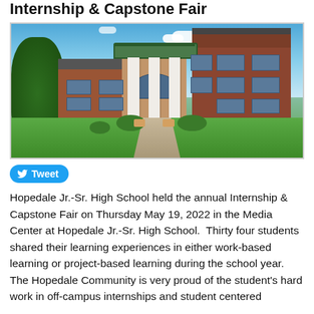Internship & Capstone Fair
[Figure (photo): Exterior photo of Hopedale Jr.-Sr. High School building, a red brick building with white columns and a green balcony, sunny day with blue sky and green lawn in the foreground.]
Tweet
Hopedale Jr.-Sr. High School held the annual Internship & Capstone Fair on Thursday May 19, 2022 in the Media Center at Hopedale Jr.-Sr. High School.  Thirty four students shared their learning experiences in either work-based learning or project-based learning during the school year.  The Hopedale Community is very proud of the student's hard work in off-campus internships and student centered